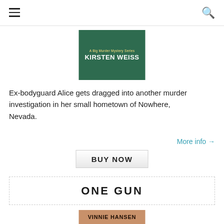navigation header with hamburger menu and search icon
[Figure (illustration): Book cover for Kirsten Weiss - A Big Murder Mystery Series, green background with tropical/desert imagery]
Ex-bodyguard Alice gets dragged into another murder investigation in her small hometown of Nowhere, Nevada.
More info →
[Figure (other): BUY NOW button]
ONE GUN
[Figure (illustration): Book cover for One Gun by Vinnie Hansen]